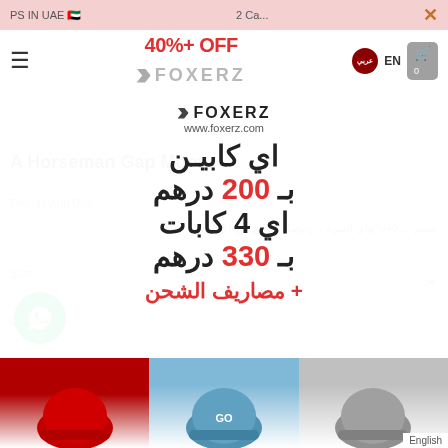PS IN UAE  2 Ca...
[Figure (screenshot): Foxerz website navigation bar with hamburger menu, FOXERZ logo, 40%+ OFF discount label, flag icon, EN language toggle, and shopping cart]
[Figure (infographic): Foxerz promotional popup overlay showing brand logo, www.foxerz.com, Arabic text: اي كابين بـ 200 درهم, اي 4 كابات بـ 330 درهم, + مصاريف الشحن]
A Horsema... Ga... Moon
Dhs. 180.00 Dhs...
حصم ب 40% واي الفترة... وتوصل مجاني في الإمارات
Size
Quantity
English